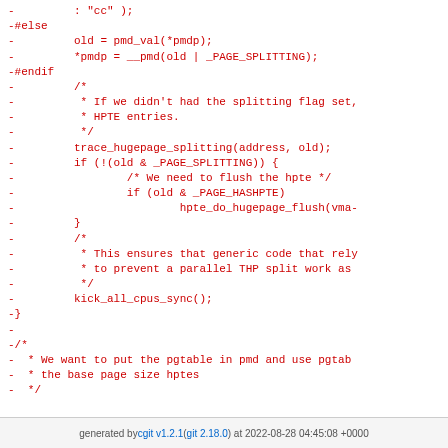Code diff showing removed lines with -#else, -#endif, and code for pmd_val, __pmd, trace_hugepage_splitting, kick_all_cpus_sync, and comment blocks about THP splitting and pgtable.
generated by cgit v1.2.1 (git 2.18.0) at 2022-08-28 04:45:08 +0000